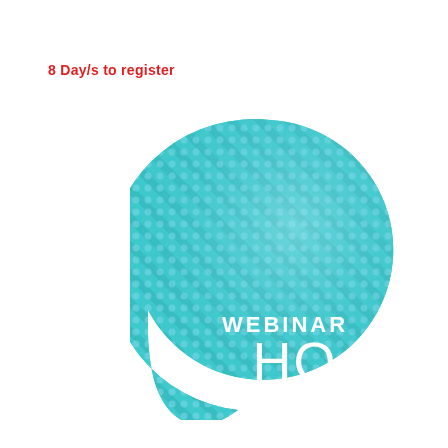8 Day/s to register
[Figure (logo): Webinar HQ logo: a teal teardrop/speech-bubble shape with diagonal stripe texture and dot-pattern overlay, white text reading WEBINAR HQ]